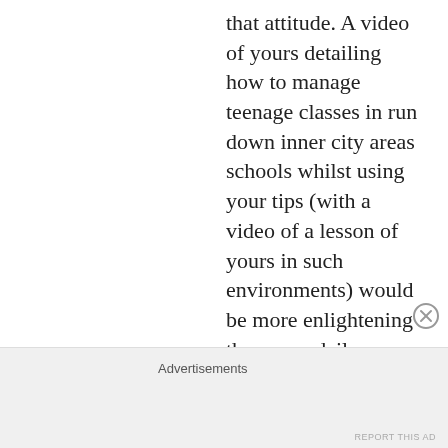that attitude. A video of yours detailing how to manage teenage classes in run down inner city areas schools whilst using your tips (with a video of a lesson of yours in such environments) would be more enlightening than your daily evangelical talks about how to best learn languages. A final note: Krashen has had many great ideas and I respect some of his work but his theory and methodology
Advertisements
REPORT THIS AD